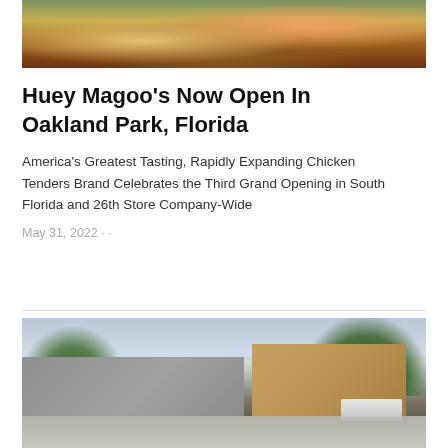[Figure (photo): Top portion of a food photo showing chicken tenders/wrap on a wooden surface]
Huey Magoo’s Now Open In Oakland Park, Florida
America’s Greatest Tasting, Rapidly Expanding Chicken Tenders Brand Celebrates the Third Grand Opening in South Florida and 26th Store Company-Wide
May 31, 2022 · ·
[Figure (photo): Exterior photo of a Huey Magoo’s restaurant building with modern architecture, trees, and a parking lot]